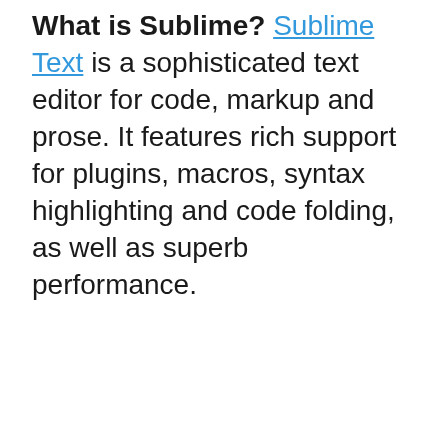What is Sublime? Sublime Text is a sophisticated text editor for code, markup and prose. It features rich support for plugins, macros, syntax highlighting and code folding, as well as superb performance.
[Figure (screenshot): Blurred/redacted webpage content below the main text, showing greyed-out bars representing text content, a bullet point row, and a large grey image placeholder at the bottom. A scroll-to-top button is visible on the right side.]